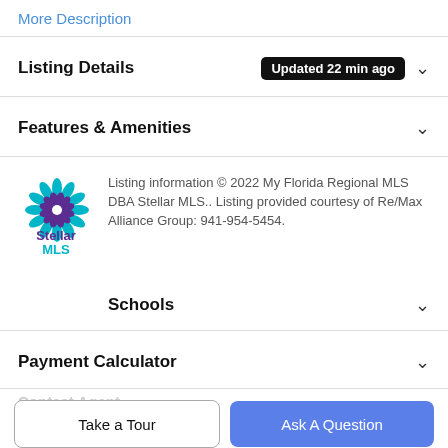More Description
Listing Details Updated 22 min ago
Features & Amenities
Listing information © 2022 My Florida Regional MLS DBA Stellar MLS.. Listing provided courtesy of Re/Max Alliance Group: 941-954-5454.
[Figure (logo): Stellar MLS logo - snowflake/star shape in teal and purple with 'Stellar MLS' text below]
Schools
Payment Calculator
Contact Agent
Take a Tour
Ask A Question